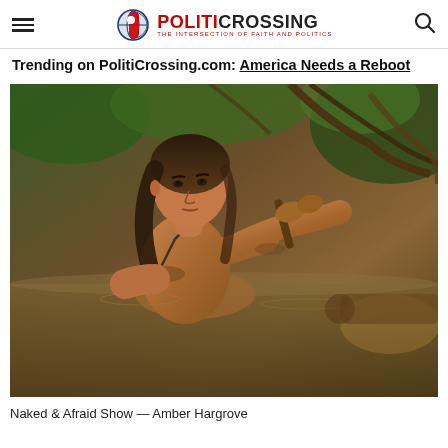POLITICROSSING — THE INTERSECTION OF FAITH AND POLITICS
Trending on PolitiCrossing.com: America Needs a Reboot
[Figure (photo): Woman waist-deep in murky water in a jungle/swamp setting, holding a wooden stick or pole, looking upward. She has long dark hair and appears muddy. Background shows tangled roots and branches.]
Naked & Afraid Show — Amber Hargrove